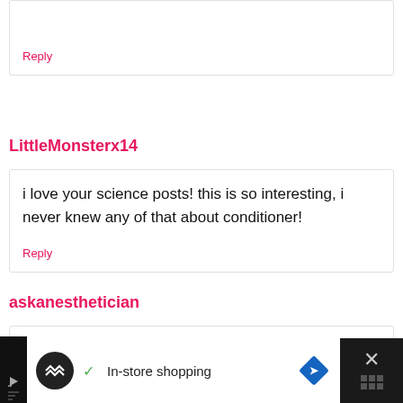Reply
LittleMonsterx14
i love your science posts! this is so interesting, i never knew any of that about conditioner!
Reply
askanesthetician
Great information and great post!
[Figure (other): Advertisement banner at bottom of page showing In-store shopping ad with icons and close button]